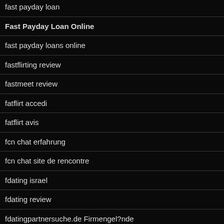fast payday loan
Fast Payday Loan Online
fast payday loans online
fastflirting review
fastmeet review
fatflirt accedi
fatflirt avis
fcn chat erfahrung
fcn chat site de rencontre
fdating israel
fdating review
fdatingpartnersuche.de Firmengel?nde
feabie.com mobile